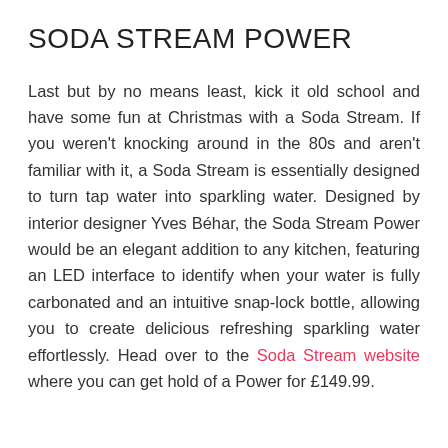SODA STREAM POWER
Last but by no means least, kick it old school and have some fun at Christmas with a Soda Stream. If you weren't knocking around in the 80s and aren't familiar with it, a Soda Stream is essentially designed to turn tap water into sparkling water. Designed by interior designer Yves Béhar, the Soda Stream Power would be an elegant addition to any kitchen, featuring an LED interface to identify when your water is fully carbonated and an intuitive snap-lock bottle, allowing you to create delicious refreshing sparkling water effortlessly. Head over to the Soda Stream website where you can get hold of a Power for £149.99.